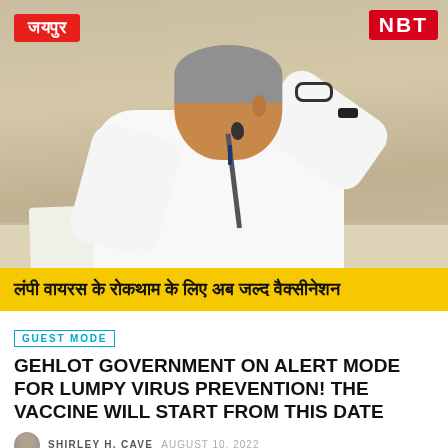[Figure (photo): A senior Indian politician in white kurta sitting at a table speaking near a microphone, with the Jaipur location tag and NBT news logo overlaid on the photo.]
लंपी वायरस के रोकथाम के लिए अब जल्द वैक्सीनेशन
GUEST MODE
GEHLOT GOVERNMENT ON ALERT MODE FOR LUMPY VIRUS PREVENTION! THE VACCINE WILL START FROM THIS DATE
SHIRLEY H. CAVE  AUGUST 10, 2022